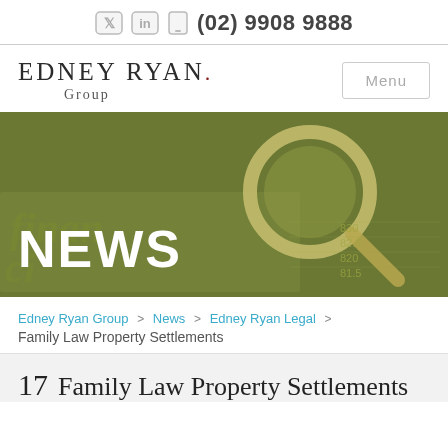(02) 9908 9888
EDNEY RYAN Group
[Figure (photo): Hero banner image of a magnifying glass over financial documents with a green/olive overlay, with the word NEWS overlaid in bold white text]
Edney Ryan Group > News > Edney Ryan Legal > Family Law Property Settlements
17  Family Law Property Settlements